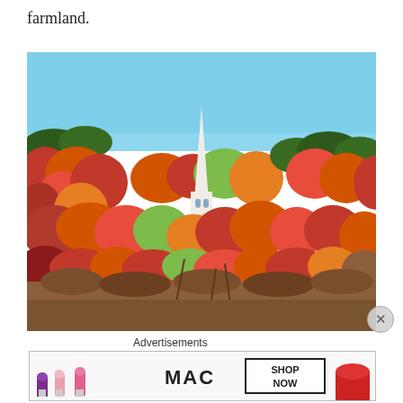farmland.
[Figure (photo): Autumn foliage landscape with a white church steeple rising above colorful fall trees in red, orange, green, and yellow, with a clear blue sky above.]
Advertisements
[Figure (photo): MAC Cosmetics advertisement banner showing purple, pink, and red lipsticks with text 'MAC' and 'SHOP NOW' button.]